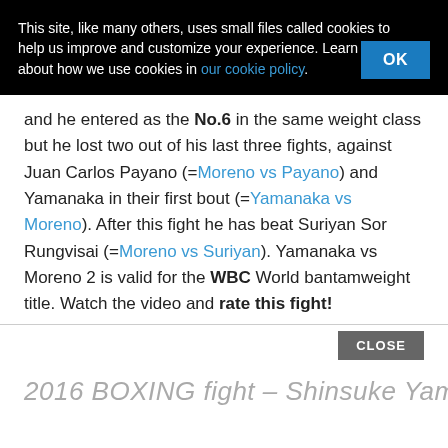This site, like many others, uses small files called cookies to help us improve and customize your experience. Learn more about how we use cookies in our cookie policy.
and he entered as the No.6 in the same weight class but he lost two out of his last three fights, against Juan Carlos Payano (=Moreno vs Payano) and Yamanaka in their first bout (=Yamanaka vs Moreno). After this fight he has beat Suriyan Sor Rungvisai (=Moreno vs Suriyan). Yamanaka vs Moreno 2 is valid for the WBC World bantamweight title. Watch the video and rate this fight!
CLOSE
2016 BOXING fight – Shinsuke Yamanaka